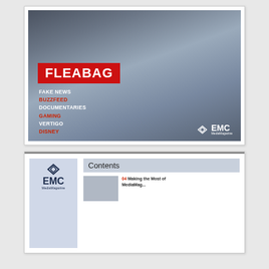[Figure (photo): Magazine cover of EMC MediaMagazine featuring the TV show Fleabag. Two people visible: a man in a black leather jacket and a woman in a blue and white striped dress with a name badge reading 'here to help'. Red banner with FLEABAG title. Cover lines include: FAKE NEWS, BUZZFEED, DOCUMENTARIES, GAMING, VERTIGO, DISNEY. EMC MediaMagazine logo bottom right.]
[Figure (screenshot): Partial view of EMC MediaMagazine contents page showing the EMC logo on the left side and a Contents header with a thumbnail image and the beginning of article listings including '04 Making the Most of...' headline.]